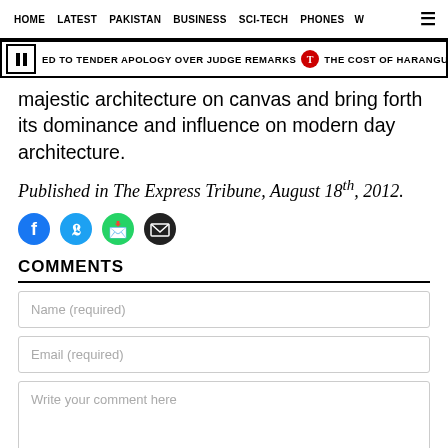HOME  LATEST  PAKISTAN  BUSINESS  SCI-TECH  PHONES  W
ED TO TENDER APOLOGY OVER JUDGE REMARKS  THE COST OF HARANGUE OUTS
majestic architecture on canvas and bring forth its dominance and influence on modern day architecture.
Published in The Express Tribune, August 18th, 2012.
[Figure (illustration): Social media share icons: Facebook, Twitter, WhatsApp, Email]
COMMENTS
Name (required)
Email (required)
Write your comment here